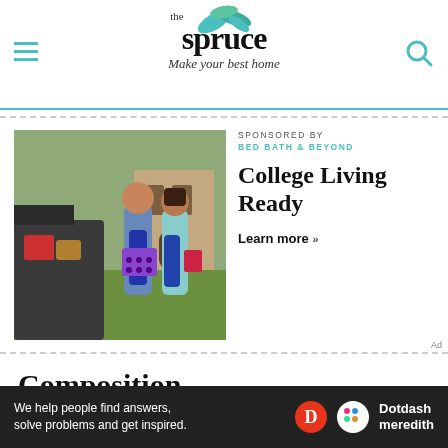the spruce — Make your best home
[Figure (photo): Two young women unloading items from a car trunk on a college campus]
SPONSORED BY
BED BATH & BEYOND
College Living Ready
Learn more »
Composition
Page composition and high income...
We help people find answers, solve problems and get inspired. Dotdash meredith